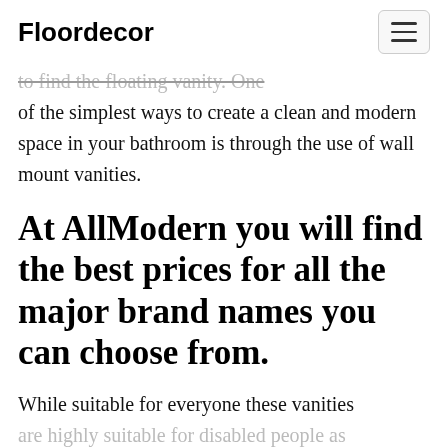Floordecor
...to find the floating vanity. One of the simplest ways to create a clean and modern space in your bathroom is through the use of wall mount vanities.
At AllModern you will find the best prices for all the major brand names you can choose from.
While suitable for everyone these vanities are highly suitable for disabled people as...